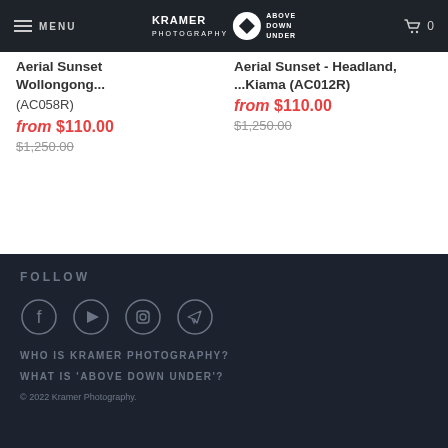MENU | KRAMER PHOTOGRAPHY ABOVE DOWN UNDER | 🛒 0
Aerial Sunset ... Wollongong... (AC058R)
from $110.00
$1,250.00
Aerial Sunset ... Headland, ... Kiama (AC012R)
from $110.00
$1,250.00
FOLLOW
[Figure (infographic): Social media icons: Facebook, YouTube, Instagram, Telegram]
WHO IS KRAMER PHOTOGRAPHY?
WHAT IS 'ABOVE DOWN UNDER'?
© 2022 Kramer Photography.